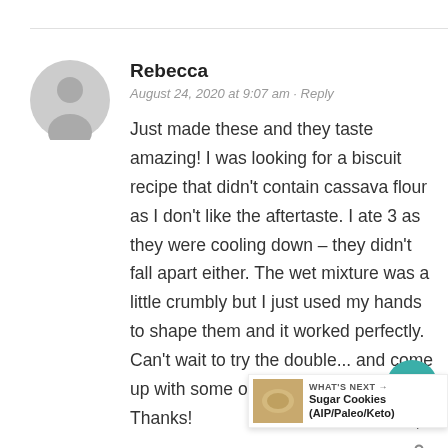[Figure (illustration): Gray circular avatar icon with silhouette of a person]
Rebecca
August 24, 2020 at 9:07 am · Reply
Just made these and they taste amazing! I was looking for a biscuit recipe that didn't contain cassava flour as I don't like the aftertaste. I ate 3 as they were cooling down – they didn't fall apart either. The wet mixture was a little crumbly but I just used my hands to shape them and it worked perfectly. Can't wait to try the double... and come up with some of ... in ingredients. Thanks!